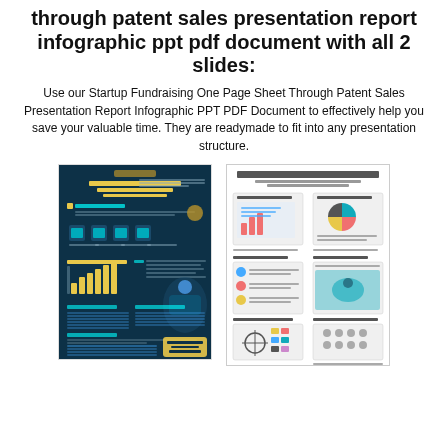through patent sales presentation report infographic ppt pdf document with all 2 slides:
Use our Startup Fundraising One Page Sheet Through Patent Sales Presentation Report Infographic PPT PDF Document to effectively help you save your valuable time. They are readymade to fit into any presentation structure.
[Figure (illustration): Thumbnail of slide 1: dark teal startup fundraising one page infographic with gold and teal charts, tables, and icons.]
[Figure (illustration): Thumbnail of slide 2: white instructions page showing how to edit data, statistics, text, images, colors, and icons in PowerPoint.]